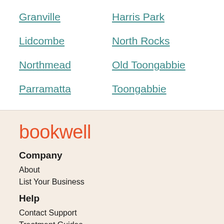Granville
Harris Park
Lidcombe
North Rocks
Northmead
Old Toongabbie
Parramatta
Toongabbie
bookwell
Company
About
List Your Business
Help
Contact Support
Treatment Guides
Browse Treatments